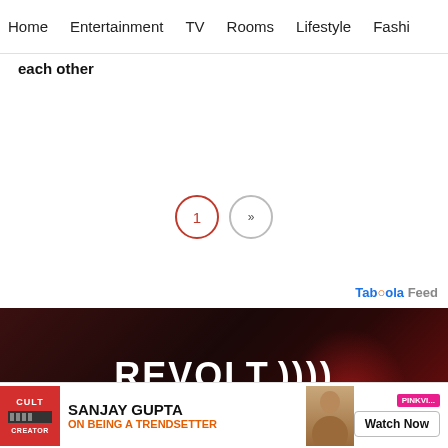Home  Entertainment  TV  Rooms  Lifestyle  Fashi...
each other
[Figure (other): Pagination controls: circle with number 1 (active, red border) and a circle with double chevron (next page)]
Taboola Feed
[Figure (other): REVOLT. PODCAST NETWORK advertisement banner with text: ANCHORED IN HIP HOP, POWERED BY CREATORS on dark red background]
[Figure (other): Bottom advertisement banner: CULT CREATOR logo, SANJAY GUPTA ON BEING A TRENDSETTER, Watch Now button, PinkVilla badge]